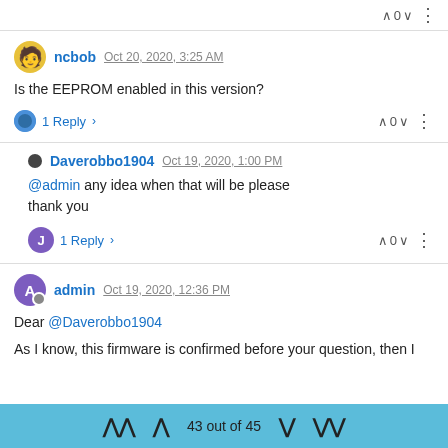0
ncbob  Oct 20, 2020, 3:25 AM
Is the EEPROM enabled in this version?
1 Reply
0
Daverobbo1904  Oct 19, 2020, 1:00 PM
@admin any idea when that will be please thank you
1 Reply
0
admin  Oct 19, 2020, 12:36 PM
Dear @Daverobbo1904
As I know, this firmware is confirmed before your question, then I
43 out of 45